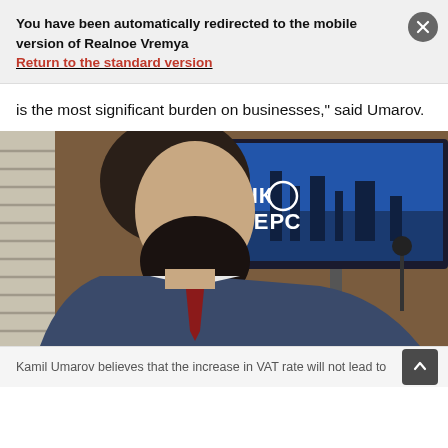You have been automatically redirected to the mobile version of Realnoe Vremya
Return to the standard version
is the most significant burden on businesses," said Umarov.
[Figure (photo): A man in a blue suit with a red tie seated in profile, with an АНК АВЕРС branded TV screen visible in the background.]
Kamil Umarov believes that the increase in VAT rate will not lead to